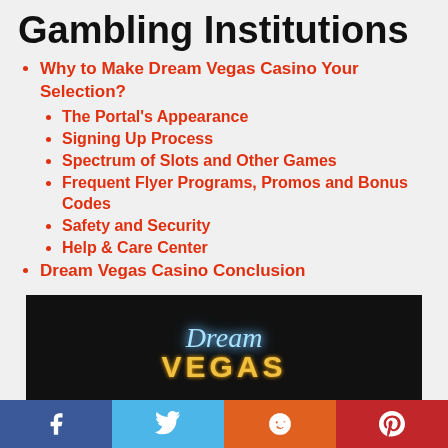Gambling Institutions
Why to Make Dream Vegas Casino Your Selection?
The Portal's Appearance
Signing Up Process
Spectrum of Slots and Other Games
Frequent Flyer Programs, Promos and Bonus Codes
Safety and Security
Help & Care Center
Dream Vegas Casino Conclusion
[Figure (photo): Dream Vegas Casino logo on dark background with neon-style 'Dream Vegas' text]